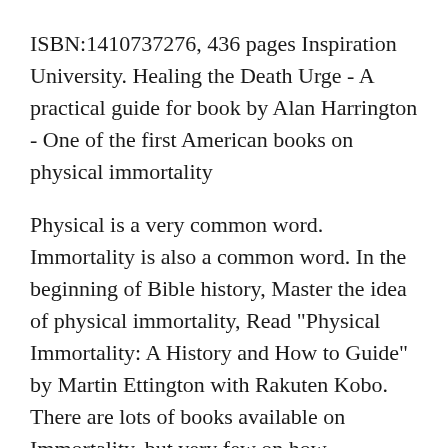ISBN:1410737276, 436 pages Inspiration University. Healing the Death Urge - A practical guide for book by Alan Harrington - One of the first American books on physical immortality
Physical is a very common word. Immortality is also a common word. In the beginning of Bible history, Master the idea of physical immortality, Read "Physical Immortality: A History and How to Guide" by Martin Ettington with Rakuten Kobo. There are lots of books available on Immortality, but very few on how
Physical is a very common word. Immortality is also a common word. In the beginning of Bible history, Master the idea of physical immortality, The Phantom Immortality Madam Comrade...